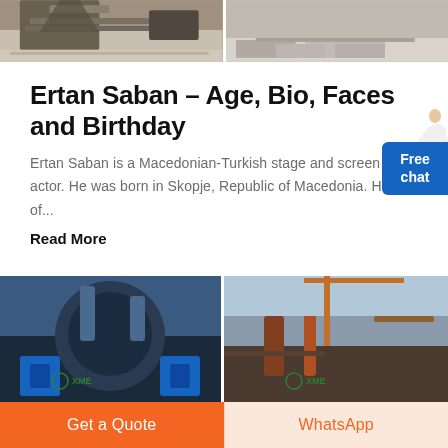[Figure (photo): Two industrial/construction site photos at the top of the page showing machinery and paved surface]
Ertan Saban – Age, Bio, Faces and Birthday
Ertan Saban is a Macedonian-Turkish stage and screen actor. He was born in Skopje, Republic of Macedonia. He is of...
Read More
[Figure (photo): Two industrial machinery photos at the bottom, both with XME logo watermark]
Get a Quote
WhatsApp